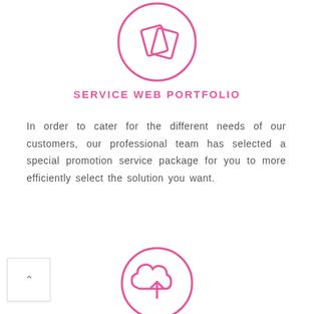[Figure (illustration): Pink circle with two overlapping rotated document/card icons inside, outline style]
SERVICE WEB PORTFOLIO
In order to cater for the different needs of our customers, our professional team has selected a special promotion service package for you to more efficiently select the solution you want.
[Figure (illustration): Pink circle with a cloud upload icon inside, partially visible at bottom of page]